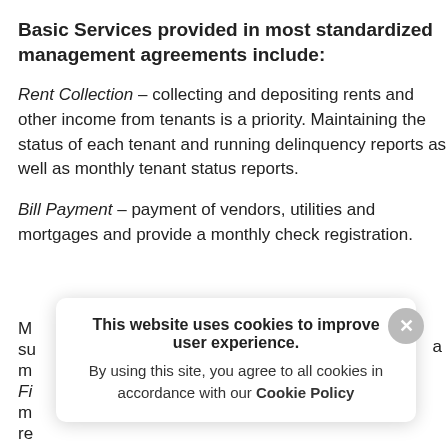Basic Services provided in most standardized management agreements include:
Rent Collection – collecting and depositing rents and other income from tenants is a priority. Maintaining the status of each tenant and running delinquency reports as well as monthly tenant status reports.
Bill Payment – payment of vendors, utilities and mortgages and provide a monthly check registration.
M[partially hidden] su[partially hidden] a m[partially hidden]
Fi[partially hidden] m[partially hidden] re[partially hidden]
[Figure (screenshot): Cookie consent modal dialog with close button (X), text 'This website uses cookies to improve user experience. By using this site, you agree to all cookies in accordance with our Cookie Policy']